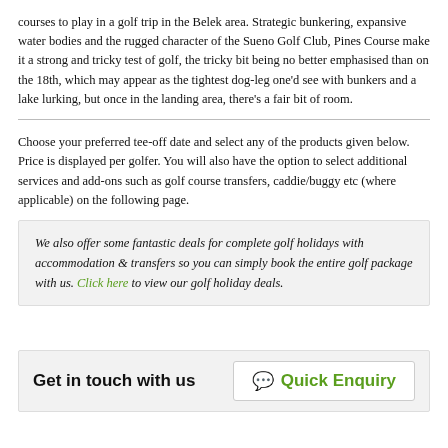courses to play in a golf trip in the Belek area. Strategic bunkering, expansive water bodies and the rugged character of the Sueno Golf Club, Pines Course make it a strong and tricky test of golf, the tricky bit being no better emphasised than on the 18th, which may appear as the tightest dog-leg one'd see with bunkers and a lake lurking, but once in the landing area, there's a fair bit of room.
Choose your preferred tee-off date and select any of the products given below. Price is displayed per golfer. You will also have the option to select additional services and add-ons such as golf course transfers, caddie/buggy etc (where applicable) on the following page.
We also offer some fantastic deals for complete golf holidays with accommodation & transfers so you can simply book the entire golf package with us. Click here to view our golf holiday deals.
Get in touch with us   Quick Enquiry